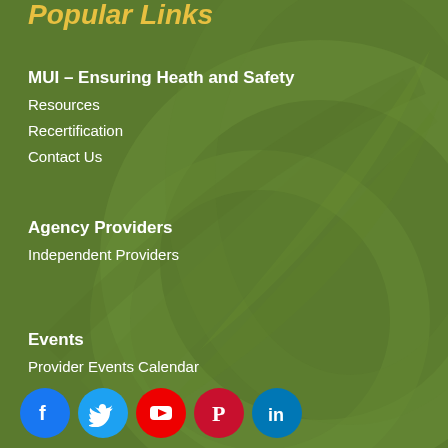Popular Links
MUI – Ensuring Heath and Safety
Resources
Recertification
Contact Us
Agency Providers
Independent Providers
Events
Provider Events Calendar
[Figure (infographic): Social media icons row: Facebook (blue), Twitter (blue), YouTube (red), Pinterest (red/dark red), LinkedIn (blue)]